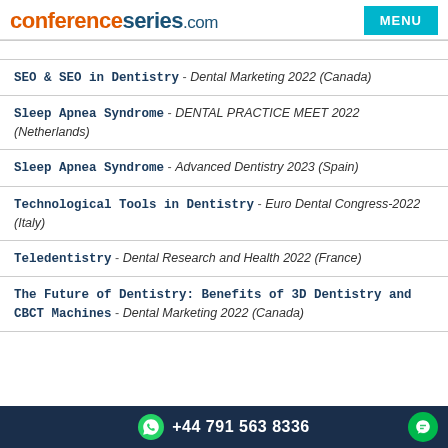conferenceseries.com | MENU
SEO & SEO in Dentistry - Dental Marketing 2022 (Canada)
Sleep Apnea Syndrome - DENTAL PRACTICE MEET 2022 (Netherlands)
Sleep Apnea Syndrome - Advanced Dentistry 2023 (Spain)
Technological Tools in Dentistry - Euro Dental Congress-2022 (Italy)
Teledentistry - Dental Research and Health 2022 (France)
The Future of Dentistry: Benefits of 3D Dentistry and CBCT Machines - Dental Marketing 2022 (Canada)
+44 791 563 8336